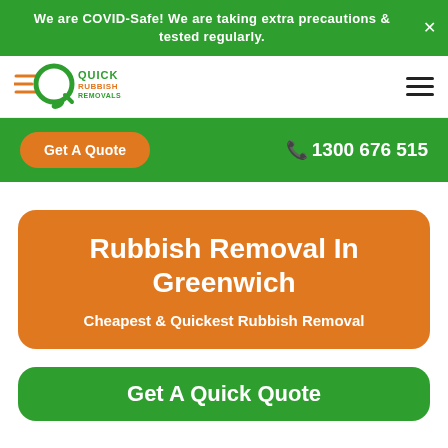We are COVID-Safe! We are taking extra precautions & tested regularly.
[Figure (logo): Quick Rubbish Removals logo with green circular Q icon and orange speed lines]
1300 676 515
Get A Quote
Rubbish Removal In Greenwich
Cheapest & Quickest Rubbish Removal
Get A Quick Quote